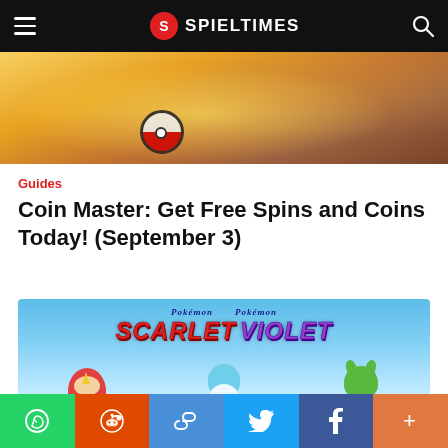SPIELTIMES
[Figure (photo): Close-up photo of coins (Coin Master game imagery) with warm golden tones]
Guides
Coin Master: Get Free Spins and Coins Today! (September 3)
[Figure (photo): Pokémon Scarlet Violet promotional image showing Sprigatito, Quaxly, and Fuecoco starter Pokémon with the Pokémon Scarlet Violet logo on a light blue sky background]
Social sharing bar with WhatsApp, Reddit, Copy link, Twitter, Facebook, and More buttons